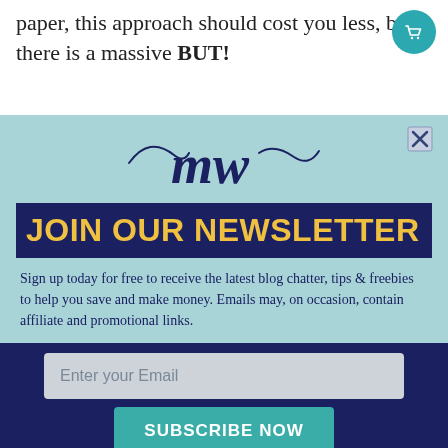paper, this approach should cost you less, but there is a massive BUT!
[Figure (logo): Shopping cart icon in teal circle]
[Figure (logo): The Money Whisperer cursive MW logo in dark navy]
JOIN OUR NEWSLETTER
Sign up today for free to receive the latest blog chatter, tips & freebies to help you save and make money. Emails may, on occasion, contain affiliate and promotional links.
Enter your Email
SUBSCRIBE NOW
NO THANKS
I consent to having The Money Whisperer add my email to their mailing list.